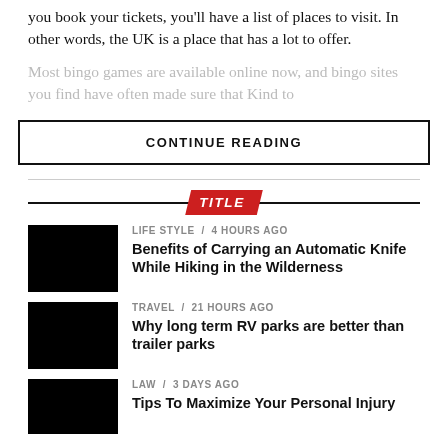you book your tickets, you'll have a list of places to visit. In other words, the UK is a place that has a lot to offer.
Most bingo games are available online now, and bingo sites you find have often made sure that Kind to
CONTINUE READING
TITLE
LIFE STYLE / 4 hours ago
Benefits of Carrying an Automatic Knife While Hiking in the Wilderness
TRAVEL / 21 hours ago
Why long term RV parks are better than trailer parks
LAW / 3 days ago
Tips To Maximize Your Personal Injury